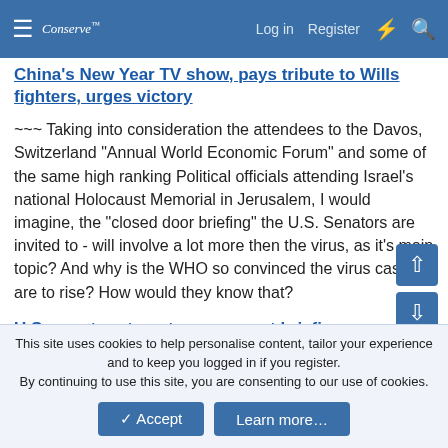Conserve | Log in | Register
China's New Year TV show, pays tribute to Wills fighters, urges victory
~~~ Taking into consideration the attendees to the Davos, Switzerland "Annual World Economic Forum" and some of the same high ranking Political officials attending Israel's national Holocaust Memorial in Jerusalem, I would imagine, the "closed door briefing" the U.S. Senators are invited to - will involve a lot more then the virus, as it's main topic? And why is the WHO so convinced the virus cases are to rise? How would they know that?
U.S. senators to get government briefing on coronavirus: aide January 23, 2020
This site uses cookies to help personalise content, tailor your experience and to keep you logged in if you register.
By continuing to use this site, you are consenting to our use of cookies.